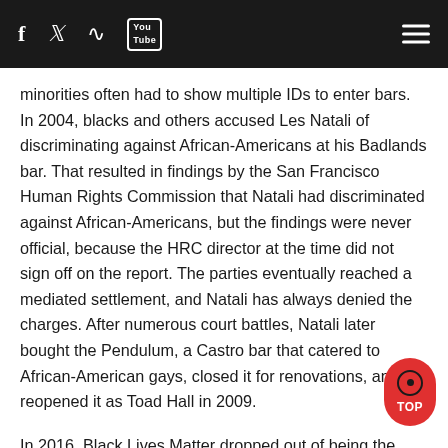Navigation bar with social icons: Facebook, Twitter, RSS, YouTube, and hamburger menu
minorities often had to show multiple IDs to enter bars. In 2004, blacks and others accused Les Natali of discriminating against African-Americans at his Badlands bar. That resulted in findings by the San Francisco Human Rights Commission that Natali had discriminated against African-Americans, but the findings were never official, because the HRC director at the time did not sign off on the report. The parties eventually reached a mediated settlement, and Natali has always denied the charges. After numerous court battles, Natali later bought the Pendulum, a Castro bar that catered to African-American gays, closed it for renovations, and reopened it as Toad Hall in 2009.

In 2016, Black Lives Matter dropped out of being the organizational grand marshal in the San Francisco Pride